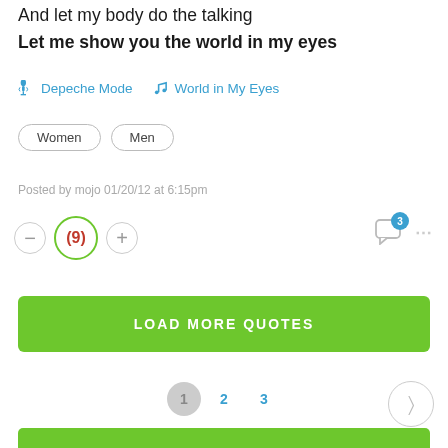And let my body do the talking
Let me show you the world in my eyes
Depeche Mode   World in My Eyes
Women
Men
Posted by mojo 01/20/12 at 6:15pm
9 (vote count)
3 (comments)
LOAD MORE QUOTES
1  2  3
>